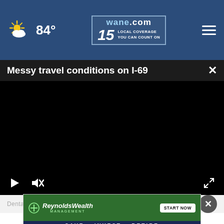84° | wane.com 15 LOCAL COVERAGE YOU CAN COUNT ON
Messy travel conditions on I-69
[Figure (screenshot): Black video player area with playback controls: play button, mute button, and fullscreen button]
Dental Health News
[Figure (advertisement): Reynolds Wealth Management advertisement: START NOW | SAVE > INVEST > RETIRE]